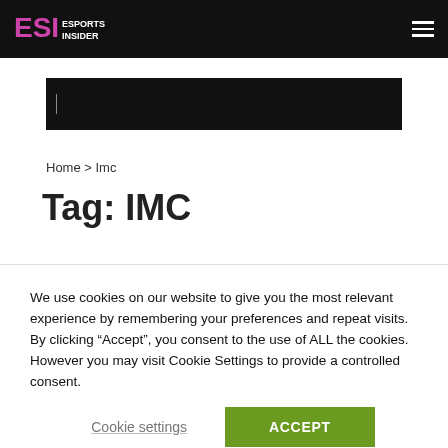ESI Esports Insider
[Figure (screenshot): Dark search bar input field with cursor]
Home > Imc
Tag: IMC
We use cookies on our website to give you the most relevant experience by remembering your preferences and repeat visits. By clicking “Accept”, you consent to the use of ALL the cookies. However you may visit Cookie Settings to provide a controlled consent.